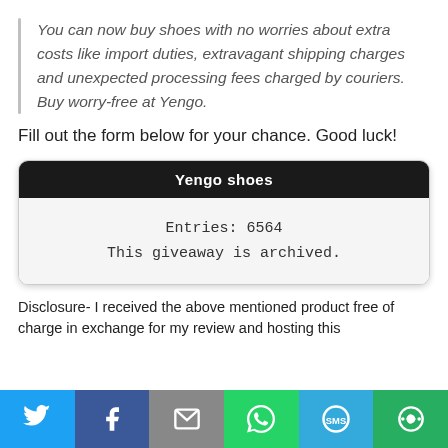You can now buy shoes with no worries about extra costs like import duties, extravagant shipping charges and unexpected processing fees charged by couriers. Buy worry-free at Yengo.
Fill out the form below for your chance. Good luck!
[Figure (other): Giveaway widget box with dark header 'Yengo shoes', entries count 6564, and text 'This giveaway is archived.']
Disclosure- I received the above mentioned product free of charge in exchange for my review and hosting this
[Figure (other): Social sharing bar with Twitter, Facebook, Email, WhatsApp, SMS, and another share button icons]